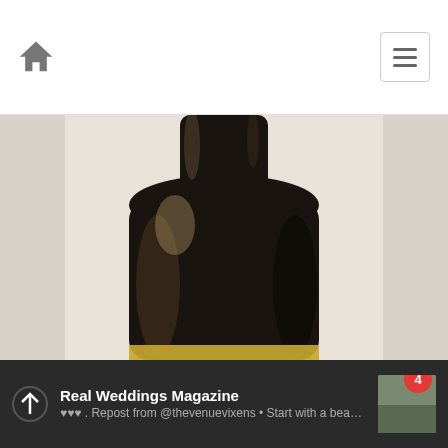Navigation bar with home icon and menu button
[Figure (photo): Close-up photo of a dark wine bottle on a light background, showing the shoulder and neck of the bottle]
[Figure (infographic): Social sharing buttons bar: Facebook (blue), Twitter (light blue), Pinterest (red), More/plus (orange-red)]
Real Weddings Magazine ♥♥♥ . Repost from @thevenuevixens • Start with a beautiful venue like …